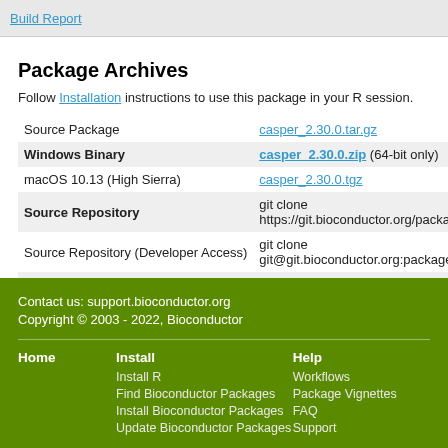Build Report
Package Archives
Follow Installation instructions to use this package in your R session.
|  |  |
| --- | --- |
| Source Package | casper_2.30.0.tar.gz |
| Windows Binary | casper_2.30.0.zip (64-bit only) |
| macOS 10.13 (High Sierra) | casper_2.30.0.tgz |
| Source Repository | git clone https://git.bioconductor.org/packages/ |
| Source Repository (Developer Access) | git clone git@git.bioconductor.org:packages/ca |
| Package Short Url | https://bioconductor.org/packages/casper/ |
| Package Downloads Report | Download Stats |
Contact us: support.bioconductor.org
Copyright © 2003 - 2022, Bioconductor
Home | Install | Help
Install R | Workflows
Find Bioconductor Packages | Package Vignettes
Install Bioconductor Packages | FAQ
Update Bioconductor Packages | Support